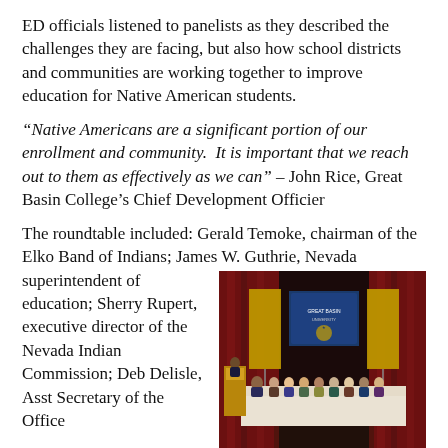ED officials listened to panelists as they described the challenges they are facing, but also how school districts and communities are working together to improve education for Native American students.
“Native Americans are a significant portion of our enrollment and community.  It is important that we reach out to them as effectively as we can” – John Rice, Great Basin College’s Chief Development Officier
The roundtable included: Gerald Temoke, chairman of the Elko Band of Indians; James W. Guthrie, Nevada superintendent of education; Sherry Rupert, executive director of the Nevada Indian Commission; Deb Delisle, Asst Secretary of the Office...
[Figure (photo): A panel of people seated at a long table on a stage with red curtains behind them and two banner stands on either side. A speaker stands at a podium to the left.]